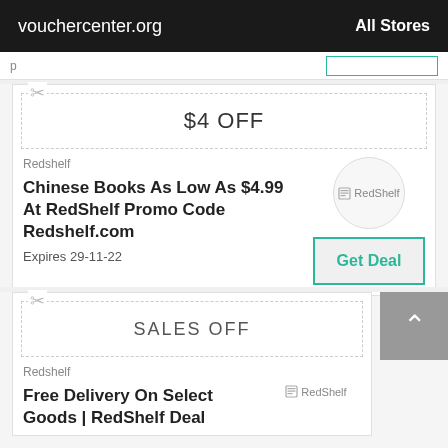vouchercenter.org   All Stores
[Figure (screenshot): Partial previous coupon card row with teal outlined button]
[Figure (infographic): Coupon strip with scissors icon showing $4 OFF]
Redshelf
Chinese Books As Low As $4.99 At RedShelf Promo Code Redshelf.com
Expires 29-11-22
[Figure (logo): RedShelf logo inside a circle]
Get Deal
[Figure (infographic): Coupon strip with scissors icon showing SALES OFF]
Redshelf
Free Delivery On Select Goods | RedShelf Deal
[Figure (logo): RedShelf logo]